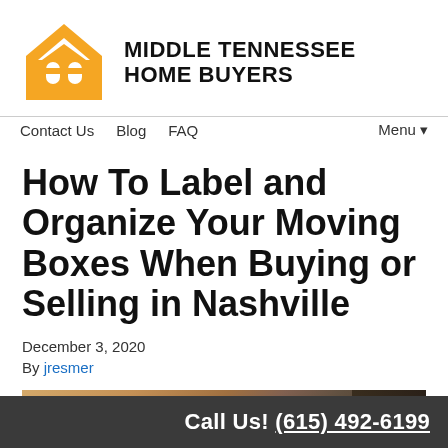[Figure (logo): Middle Tennessee Home Buyers logo: orange house icon with white door/window cutout, bold black text 'MIDDLE TENNESSEE HOME BUYERS']
Contact Us  Blog  FAQ  Menu▼
How To Label and Organize Your Moving Boxes When Buying or Selling in Nashville
December 3, 2020
By jresmer
[Figure (photo): Partial view of a photo showing moving boxes, cropped at bottom of page]
Call Us! (615) 492-6199